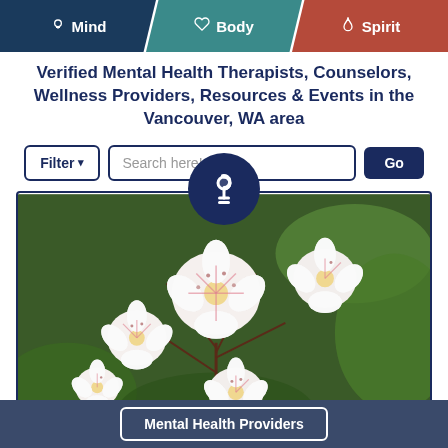Mind | Body | Spirit
Verified Mental Health Therapists, Counselors, Wellness Providers, Resources & Events in the Vancouver, WA area
[Figure (screenshot): Search interface with Filter dropdown and Search here! text input with Go button]
[Figure (photo): Close-up photo of white and pink mountain laurel flowers with green leaves in background, with dark navy circular lightbulb icon overlay at top center]
Mental Health Providers